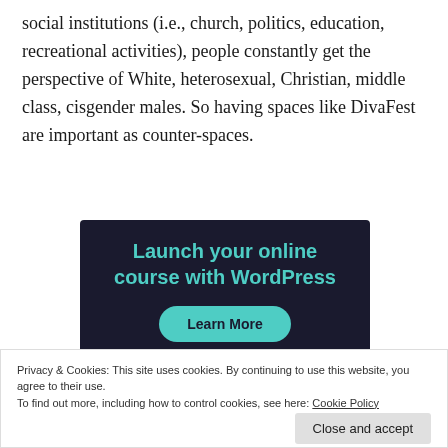social institutions (i.e., church, politics, education, recreational activities), people constantly get the perspective of White, heterosexual, Christian, middle class, cisgender males. So having spaces like DivaFest are important as counter-spaces.
[Figure (screenshot): Advertisement banner with dark navy background. Large teal text reads 'Launch your online course with WordPress'. Below is a teal rounded button labeled 'Learn More'. At bottom left is the WordPress logo and text 'Powered by WordPress.com'.]
Privacy & Cookies: This site uses cookies. By continuing to use this website, you agree to their use.
To find out more, including how to control cookies, see here: Cookie Policy